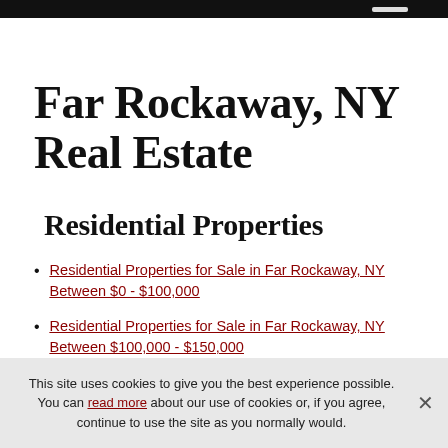Far Rockaway, NY Real Estate
Residential Properties
Residential Properties for Sale in Far Rockaway, NY Between $0 - $100,000
Residential Properties for Sale in Far Rockaway, NY Between $100,000 - $150,000
Residential Properties for Sale in Far Rockaway, NY (partial, cut off)
This site uses cookies to give you the best experience possible. You can read more about our use of cookies or, if you agree, continue to use the site as you normally would.